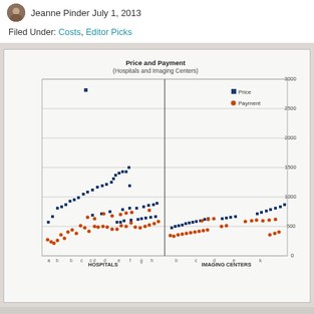Jeanne Pinder July 1, 2013
Filed Under: Costs, Editor Picks
[Figure (scatter-plot): Scatter plot showing Price (blue squares) and Payment (orange dots) across Hospitals (left section) and Imaging Centers (right section). Y-axis ranges from 0 to 3000+. Points cluster mostly below 1000 with some outliers above 2500 in hospitals section.]